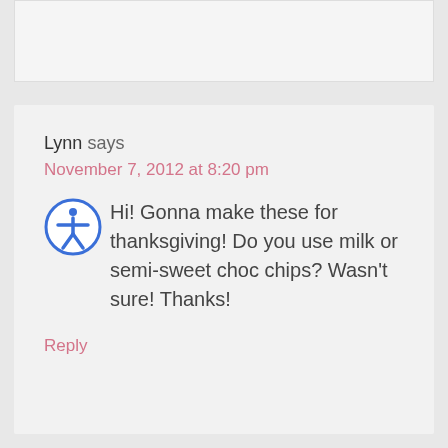[Figure (other): Top portion of a comment card, partially visible, light gray background with border]
Lynn says
November 7, 2012 at 8:20 pm
Hi! Gonna make these for thanksgiving! Do you use milk or semi-sweet choc chips? Wasn't sure! Thanks!
Reply